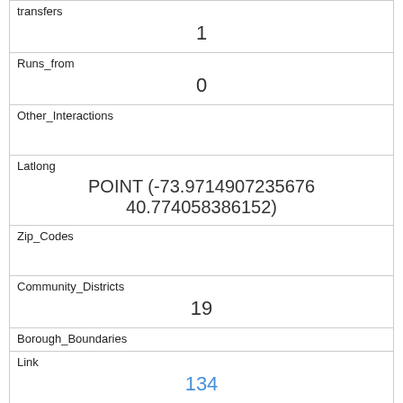| transfers | 1 |
| Runs_from | 0 |
| Other_Interactions |  |
| Latlong | POINT (-73.9714907235676 40.774058386152) |
| Zip_Codes |  |
| Community_Districts | 19 |
| Borough_Boundaries | 4 |
| City_Council_Districts | 19 |
| Police_Precincts | 13 |
| Link | 134 |